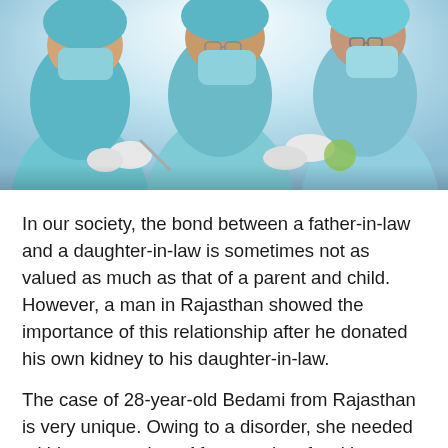[Figure (photo): Three surgeons in teal/blue scrubs, surgical masks, and caps performing an operation, viewed from slightly above. Bright surgical lighting in background.]
In our society, the bond between a father-in-law and a daughter-in-law is sometimes not as valued as much as that of a parent and child. However, a man in Rajasthan showed the importance of this relationship after he donated his own kidney to his daughter-in-law.
The case of 28-year-old Bedami from Rajasthan is very unique. Owing to a disorder, she needed a kidney transplant. After months of waiting, when no donor